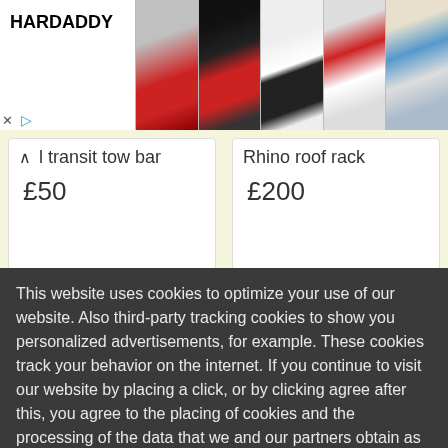[Figure (screenshot): HARDADDY ad banner with Christmas sweater product images]
l transit tow bar
£50
Rhino roof rack
£200
This website uses cookies to optimize your use of our website. Also third-party tracking cookies to show you personalized advertisements, for example. These cookies track your behavior on the internet. If you continue to visit our website by placing a click, or by clicking agree after this, you agree to the placing of cookies and the processing of the data that we and our partners obtain as a result.  More information
OK